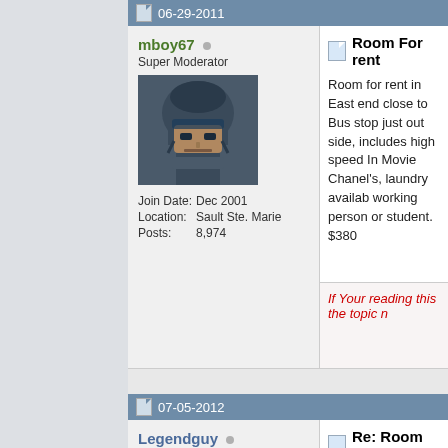06-29-2011
mboy67 - Super Moderator - Join Date: Dec 2001 - Location: Sault Ste. Marie - Posts: 8,974
Room For rent - Room for rent in East end close to Bus stop just out side, includes high speed Internet and Digital Cable TV with Movie Chanel's, laundry available too. Must like P working person or student. $380
If Your reading this the topic r
07-05-2012
Legendguy - Senior Member
Re: Room For rent
Originally Posted by m Room for rent in East en Bus stop just out side, i and Digital Cable TV with available too. Must like P person or student. $380